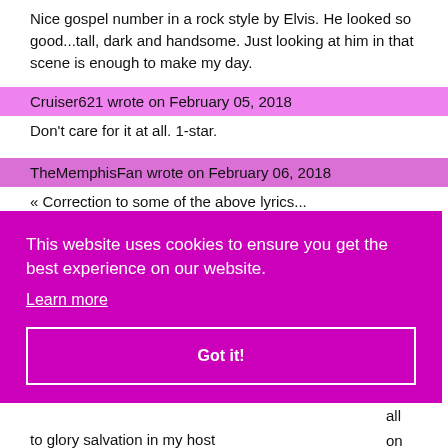Nice gospel number in a rock style by Elvis. He looked so good...tall, dark and handsome. Just looking at him in that scene is enough to make my day.
Cruiser621 wrote on February 05, 2018
Don't care for it at all. 1-star.
TheMemphisFan wrote on February 06, 2018
« Correction to some of the above lyrics...
This website uses cookies to ensure you get the best experience on our website. Learn more
Got it!
to glory salvation in my host